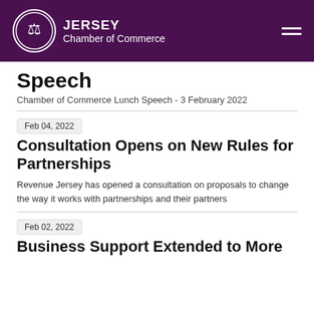JERSEY Chamber of Commerce
Speech
Chamber of Commerce Lunch Speech - 3 February 2022
Feb 04, 2022
Consultation Opens on New Rules for Partnerships
Revenue Jersey has opened a consultation on proposals to change the way it works with partnerships and their partners
Feb 02, 2022
Business Support Extended to More